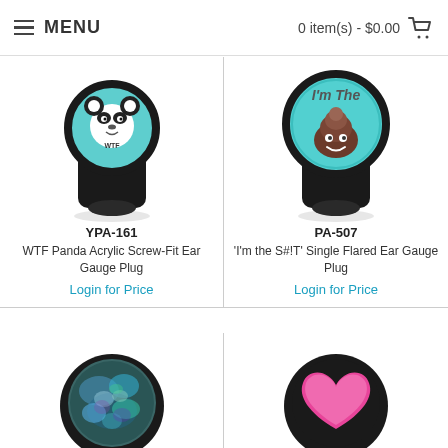MENU  0 item(s) - $0.00
[Figure (photo): WTF Panda Acrylic Screw-Fit Ear Gauge Plug product photo - black cylindrical plug with teal face showing panda WTF design]
YPA-161
WTF Panda Acrylic Screw-Fit Ear Gauge Plug
Login for Price
[Figure (photo): I'm the S#!T Single Flared Ear Gauge Plug product photo - black cylindrical plug with large teal face showing poop emoji and text 'I'm The']
PA-507
'I'm the S#!T' Single Flared Ear Gauge Plug
Login for Price
[Figure (photo): Abalone shell ear gauge plug - black cylindrical plug with iridescent shell inlay showing colorful blue green purple tones]
[Figure (photo): Heart ear gauge plug - black cylindrical plug with pink heart design]